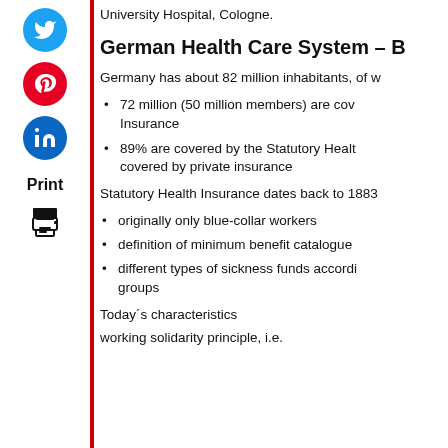University Hospital, Cologne.
German Health Care System – B
Germany has about 82 million inhabitants, of w
72 million (50 million members) are cov Insurance
89% are covered by the Statutory Healt covered by private insurance
Statutory Health Insurance dates back to 1883
originally only blue-collar workers
definition of minimum benefit catalogue
different types of sickness funds accordi groups
Today´s characteristics
working solidarity principle, i.e.